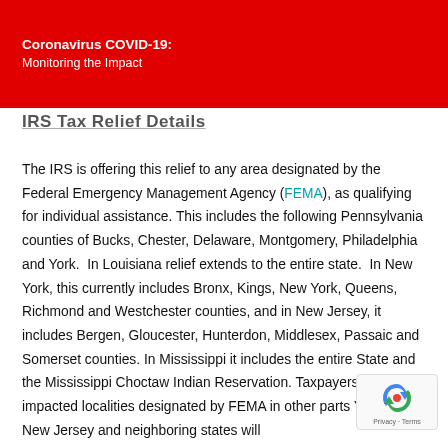Coronavirus COVID-19: Monitoring the Impact
IRS Tax Relief Details
The IRS is offering this relief to any area designated by the Federal Emergency Management Agency (FEMA), as qualifying for individual assistance. This includes the following Pennsylvania counties of Bucks, Chester, Delaware, Montgomery, Philadelphia and York.  In Louisiana relief extends to the entire state.  In New York, this currently includes Bronx, Kings, New York, Queens, Richmond and Westchester counties, and in New Jersey, it includes Bergen, Gloucester, Hunterdon, Middlesex, Passaic and Somerset counties. In Mississippi it includes the entire State and the Mississippi Choctaw Indian Reservation. Taxpayers in impacted localities designated by FEMA in other parts York and New Jersey and neighboring states will